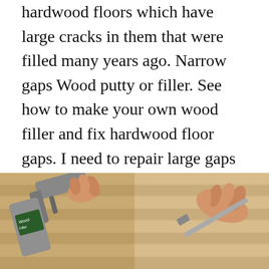hardwood floors which have large cracks in them that were filled many years ago. Narrow gaps Wood putty or filler. See how to make your own wood filler and fix hardwood floor gaps. I need to repair large gaps in seams in several spots in the old hardwood floor of our upstairs bedroomThese are bad enough about 12 to allow any liquid to drip through and down to the ceiling of the 1st floor.
[Figure (photo): Photo showing two images side by side: on the left, a caulk gun or applicator tool being used with a tube/can of wood filler product; on the right, a hand applying wood filler to hardwood floor gaps.]